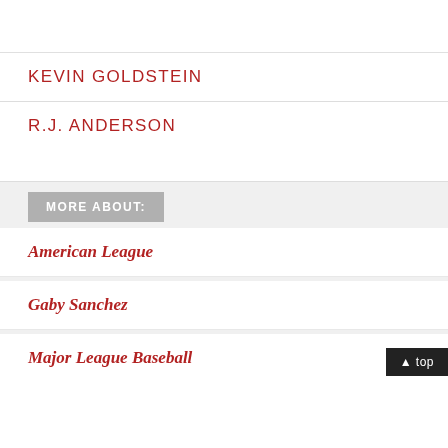KEVIN GOLDSTEIN
R.J. ANDERSON
MORE ABOUT:
American League
Gaby Sanchez
Major League Baseball